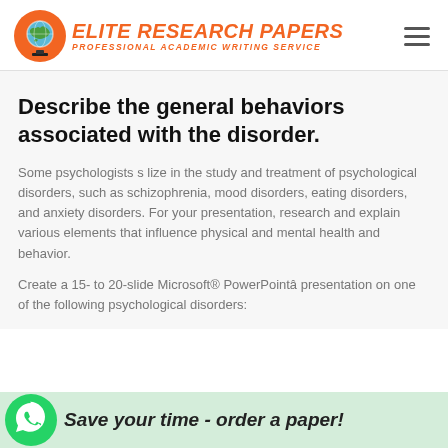[Figure (logo): Elite Research Papers logo with globe icon, orange text, subtitle 'Professional Academic Writing Service']
Describe the general behaviors associated with the disorder.
Some psychologists s lize in the study and treatment of psychological disorders, such as schizophrenia, mood disorders, eating disorders, and anxiety disorders. For your presentation, research and explain various elements that influence physical and mental health and behavior.
Create a 15- to 20-slide Microsoft® PowerPointâ presentation on one of the following psychological disorders:
Save your time - order a paper!